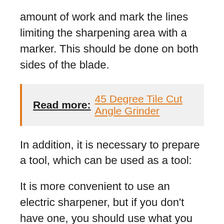amount of work and mark the lines limiting the sharpening area with a marker. This should be done on both sides of the blade.
Read more:  45 Degree Tile Cut Angle Grinder
In addition, it is necessary to prepare a tool, which can be used as a tool:
It is more convenient to use an electric sharpener, but if you don't have one, you should use what you have. An experienced craftsman gets a good result on any device, here the main factor is the availability of appropriate skills. It